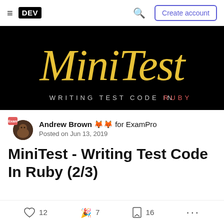DEV | Create account
[Figure (illustration): Black banner with 'MiniTest' in large yellow italic serif font and subtitle 'WRITING TEST CODE IN RUBY' in white/grey spaced capitals with RUBY in red]
Andrew Brown 🦊🦊 for ExamPro
Posted on Jun 13, 2019
MiniTest - Writing Test Code In Ruby (2/3)
♡ 12   🎉 7   🔖 16   ...